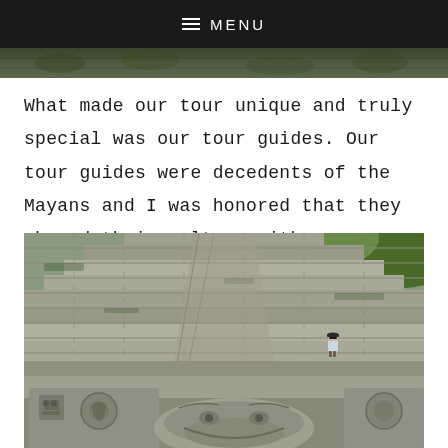≡ MENU
[Figure (photo): Partial view of a jungle or forested area — strip of green foliage]
What made our tour unique and truly special was our tour guides. Our tour guides were decedents of the Mayans and I was honored that they shared their culture with us.
[Figure (photo): Photograph of a large stone Mayan pyramid with carved stone sculptures/masks at the base. A person wearing a cap stands near the middle of the stone steps. Green foliage visible at the top.]